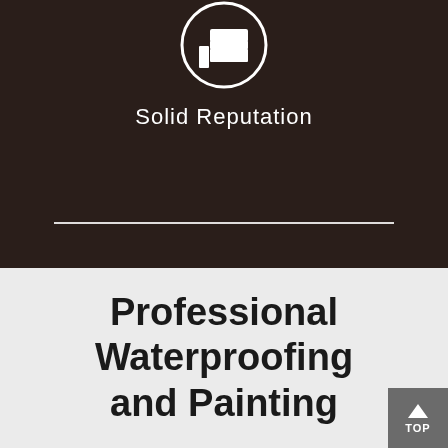[Figure (illustration): White thumbs-up icon inside a white circle outline on dark brown/black background]
Solid Reputation
Professional Waterproofing and Painting